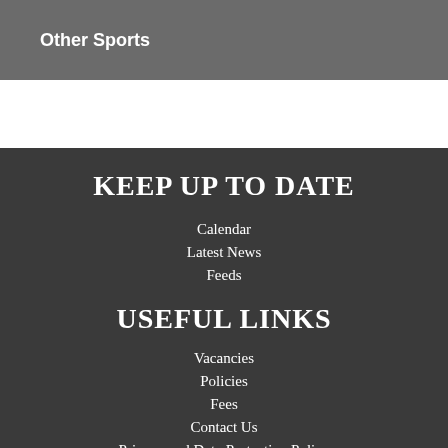Other Sports
KEEP UP TO DATE
Calendar
Latest News
Feeds
USEFUL LINKS
Vacancies
Policies
Fees
Contact Us
Privacy and Data Protection Policy